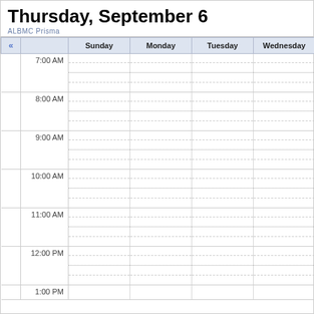Thursday, September 6
ALBMC Prisma
| « |  | Sunday | Monday | Tuesday | Wednesday |
| --- | --- | --- | --- | --- | --- |
| 7:00 AM |  |  |  |  |  |
| 8:00 AM |  |  |  |  |  |
| 9:00 AM |  |  |  |  |  |
| 10:00 AM |  |  |  |  |  |
| 11:00 AM |  |  |  |  |  |
| 12:00 PM |  |  |  |  |  |
| 1:00 PM |  |  |  |  |  |